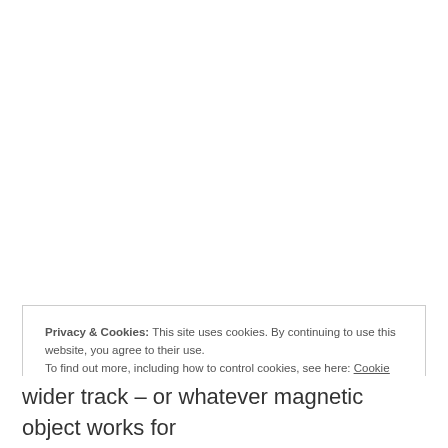Privacy & Cookies: This site uses cookies. By continuing to use this website, you agree to their use.
To find out more, including how to control cookies, see here: Cookie Policy
Close and accept
wider track – or whatever magnetic object works for